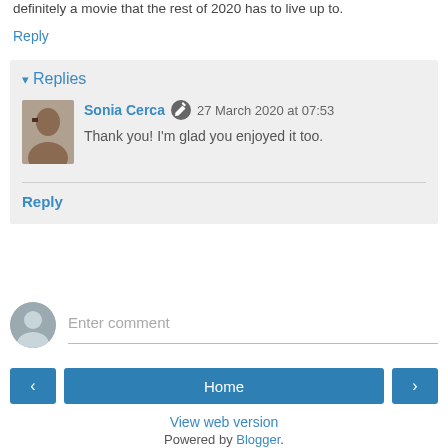definitely a movie that the rest of 2020 has to live up to.
Reply
▾ Replies
Sonia Cerca  27 March 2020 at 07:53
Thank you! I'm glad you enjoyed it too.
Reply
Enter comment
Home
View web version
Powered by Blogger.